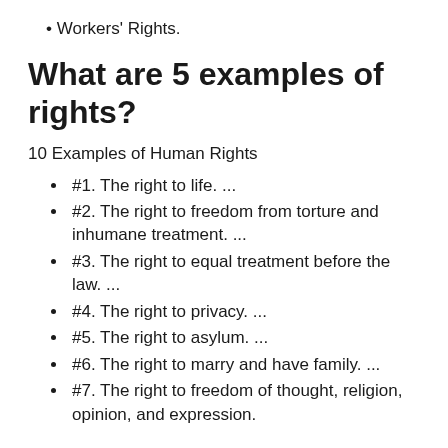Workers' Rights.
What are 5 examples of rights?
10 Examples of Human Rights
#1. The right to life. ...
#2. The right to freedom from torture and inhumane treatment. ...
#3. The right to equal treatment before the law. ...
#4. The right to privacy. ...
#5. The right to asylum. ...
#6. The right to marry and have family. ...
#7. The right to freedom of thought, religion, opinion, and expression.